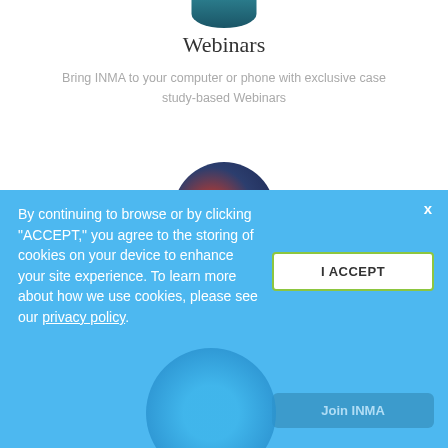[Figure (illustration): Circular profile photo cropped at top - teal/dark blue tones, partially visible at top of page]
Webinars
Bring INMA to your computer or phone with exclusive case study-based Webinars
[Figure (illustration): Circular image with dark red and blue tones showing a calendar icon overlay with white outline calendar graphic]
Newsletters
By continuing to browse or by clicking “ACCEPT,” you agree to the storing of cookies on your device to enhance your site experience. To learn more about how we use cookies, please see our privacy policy.
I ACCEPT
Join INMA